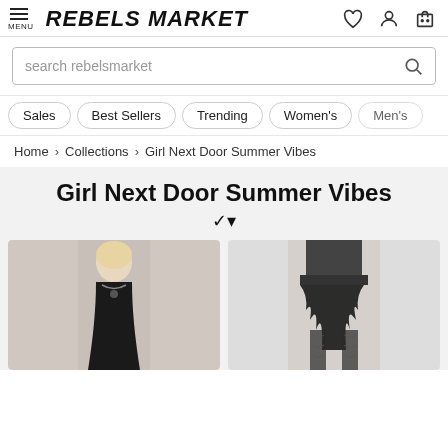REBELS MARKET — Menu, logo, and nav icons
search rebelsmarket
Sales
Best Sellers
Trending
Women's
Men's
Home > Collections > Girl Next Door Summer Vibes
Girl Next Door Summer Vibes
[Figure (photo): Two product photos: left shows a woman in a black sleeveless dress with necklace; right shows a woman wearing a black ruffled skirt with lace tights.]